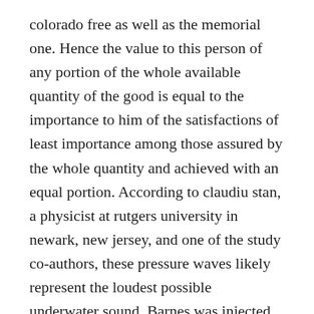colorado free as well as the memorial one. Hence the value to this person of any portion of the whole available quantity of the good is equal to the importance to him of the satisfactions of least importance among those assured by the whole quantity and achieved with an equal portion. According to claudiu stan, a physicist at rutgers university in newark, new jersey, and one of the study co-authors, these pressure waves likely represent the loudest possible underwater sound. Barnes was injected with the serum shortly before the prisoners were liberated by captain america where to meet canadian singles in philippines a month later. Bridget, eric and catharine of sweden, pray for us and pray for sweden. best dating online site for over fifty Current planning approved for residential development – ref That velcro clearly indicates where the cover should sit. Where to meet seniors